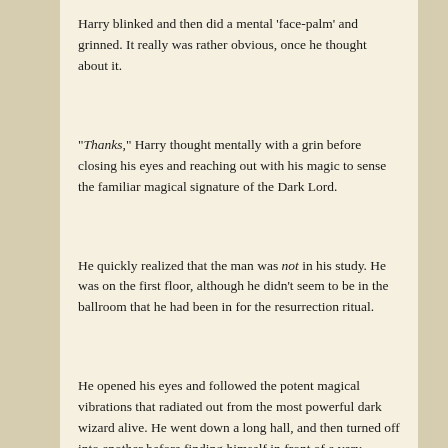Harry blinked and then did a mental 'face-palm' and grinned. It really was rather obvious, once he thought about it.
"Thanks," Harry thought mentally with a grin before closing his eyes and reaching out with his magic to sense the familiar magical signature of the Dark Lord.
He quickly realized that the man was not in his study. He was on the first floor, although he didn't seem to be in the ballroom that he had been in for the resurrection ritual.
He opened his eyes and followed the potent magical vibrations that radiated out from the most powerful dark wizard alive. He went down a long hall, and then turned off into another before finding himself in front of a very nondescript door. He had absolutely no doubt that Voldemort was on the other side of it, b...